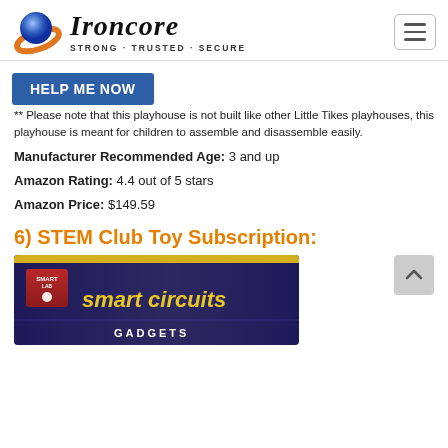Ironcore — Strong · Trusted · Secure
HELP ME NOW
** Please note that this playhouse is not built like other Little Tikes playhouses, this playhouse is meant for children to assemble and disassemble easily.
Manufacturer Recommended Age: 3 and up
Amazon Rating: 4.4 out of 5 stars
Amazon Price: $149.59
6) STEM Club Toy Subscription:
[Figure (photo): Product box image showing 'smart circuits' from SmartLab brand]